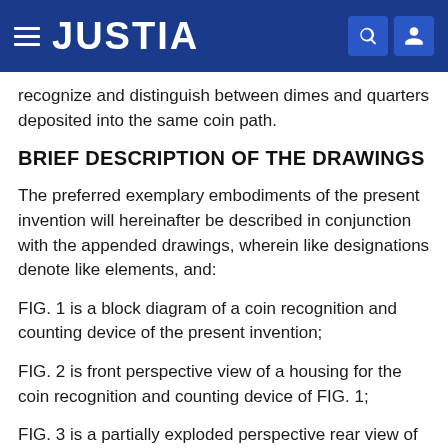JUSTIA
recognize and distinguish between dimes and quarters deposited into the same coin path.
BRIEF DESCRIPTION OF THE DRAWINGS
The preferred exemplary embodiments of the present invention will hereinafter be described in conjunction with the appended drawings, wherein like designations denote like elements, and:
FIG. 1 is a block diagram of a coin recognition and counting device of the present invention;
FIG. 2 is front perspective view of a housing for the coin recognition and counting device of FIG. 1;
FIG. 3 is a partially exploded perspective rear view of the coin recognition and counting device of FIG. 1, including